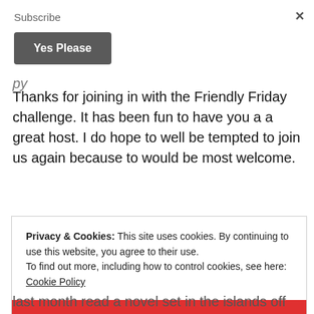Subscribe
Yes Please
Thanks for joining in with the Friendly Friday challenge. It has been fun to have you a a great host. I do hope to well be tempted to join us again because to would be most welcome.
Privacy & Cookies: This site uses cookies. By continuing to use this website, you agree to their use.
To find out more, including how to control cookies, see here: Cookie Policy
CLOSE AND ACCEPT
last month read a novel set in the islands off